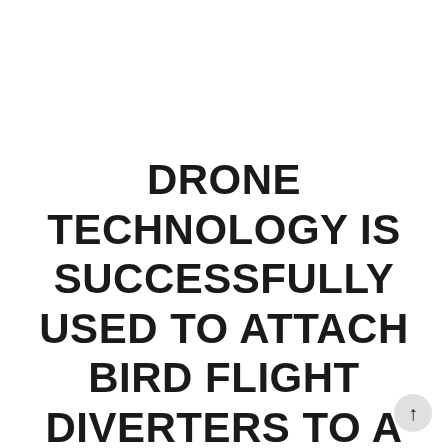DRONE TECHNOLOGY IS SUCCESSFULLY USED TO ATTACH BIRD FLIGHT DIVERTERS TO A LIVE POWERLINE